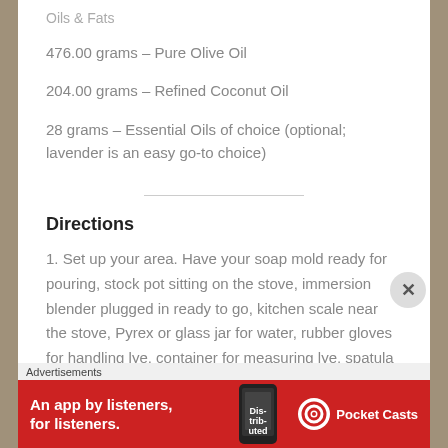Oils & Fats
476.00 grams – Pure Olive Oil
204.00 grams – Refined Coconut Oil
28 grams – Essential Oils of choice (optional; lavender is an easy go-to choice)
Directions
1. Set up your area. Have your soap mold ready for pouring, stock pot sitting on the stove, immersion blender plugged in ready to go, kitchen scale near the stove, Pyrex or glass jar for water, rubber gloves for handling lye, container for measuring lye, spatula for
[Figure (other): Advertisement banner for Pocket Casts app: red background, text 'An app by listeners, for listeners.' with phone image and Pocket Casts logo]